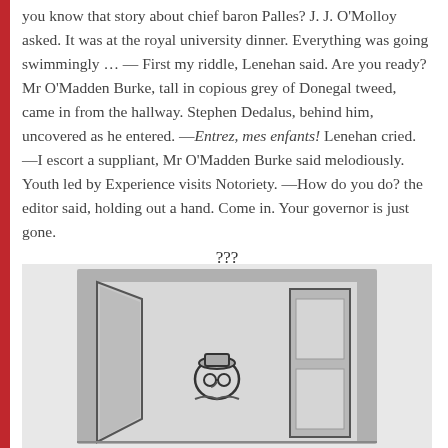you know that story about chief baron Palles? J. J. O'Molloy asked. It was at the royal university dinner. Everything was going swimmingly … — First my riddle, Lenehan said. Are you ready? Mr O'Madden Burke, tall in copious grey of Donegal tweed, came in from the hallway. Stephen Dedalus, behind him, uncovered as he entered. —Entrez, mes enfants! Lenehan cried. —I escort a suppliant, Mr O'Madden Burke said melodiously. Youth led by Experience visits Notoriety. —How do you do? the editor said, holding out a hand. Come in. Your governor is just gone.
???
[Figure (illustration): A black and white ink sketch of a person (wearing glasses and a hat) standing in an open doorway, viewed from outside. The doorway has a dark frame and an open door panel to the right.]